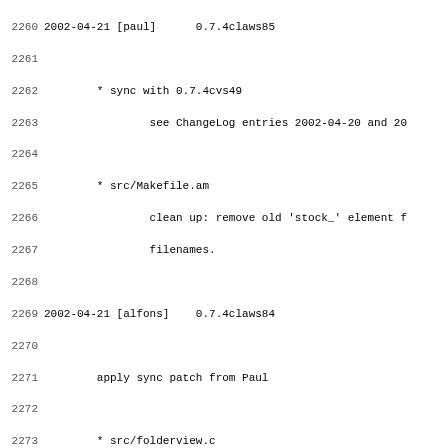Changelog/version control log entries showing lines 2260-2291 with dates, authors, version tags, and file changes.